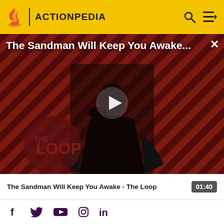ACTIONPEDIA
[Figure (screenshot): Video thumbnail showing a dark figure (Sandman character) in front of a red and black diagonal striped background with 'THE LOOP' text overlay. A white play button triangle is centered on the image.]
The Sandman Will Keep You Awake...
The Sandman Will Keep You Awake - The Loop  01:40
f  Twitter  YouTube  Instagram  in
OVERVIEW